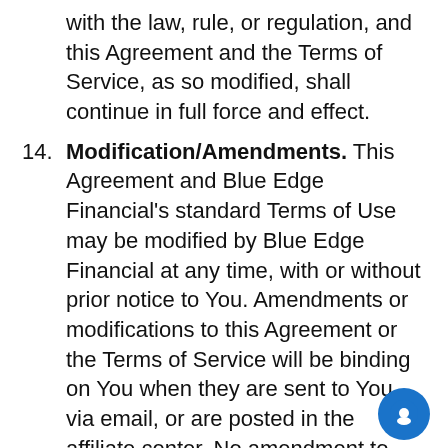with the law, rule, or regulation, and this Agreement and the Terms of Service, as so modified, shall continue in full force and effect.
14. Modification/Amendments. This Agreement and Blue Edge Financial's standard Terms of Use may be modified by Blue Edge Financial at any time, with or without prior notice to You. Amendments or modifications to this Agreement or the Terms of Service will be binding on You when they are sent to You via email, or are posted in the affiliate center. No amendment to this Agreement or the Terms of Service shall be valid unless prepared or signed by Blue Edge Financial. Your continued acceptance of Commission payments constitutes Your acceptance to any modifications or amendments to this